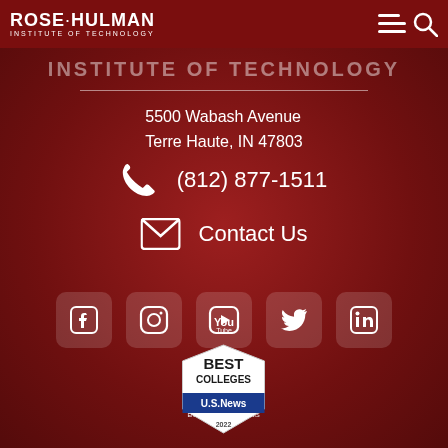Rose-Hulman Institute of Technology
INSTITUTE OF TECHNOLOGY
5500 Wabash Avenue
Terre Haute, IN 47803
(812) 877-1511
Contact Us
[Figure (infographic): Social media icons row: Facebook, Instagram, YouTube, Twitter, LinkedIn]
[Figure (infographic): US News Best Colleges 2022 Engineering Programs badge]